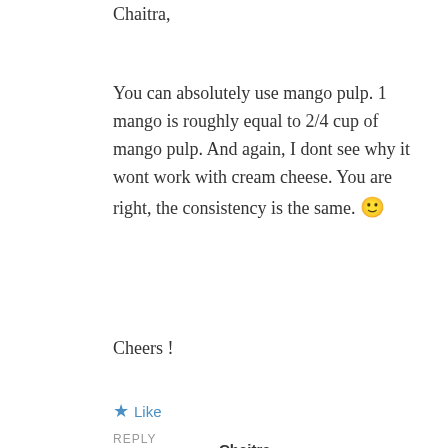Chaitra,
You can absolutely use mango pulp. 1 mango is roughly equal to 2/4 cup of mango pulp. And again, I dont see why it wont work with cream cheese. You are right, the consistency is the same. 🙂
Cheers !
★ Like
REPLY
[Figure (illustration): Orange geometric/quilted pattern avatar icon for user Chaitra]
Chaitra